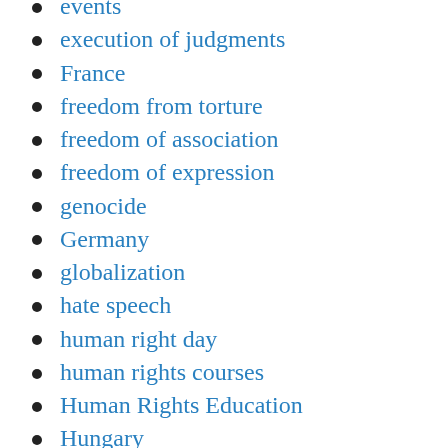events
execution of judgments
France
freedom from torture
freedom of association
freedom of expression
genocide
Germany
globalization
hate speech
human right day
human rights courses
Human Rights Education
Hungary
illiberal governments
incommunicado detention
inhumane and degrading treatment